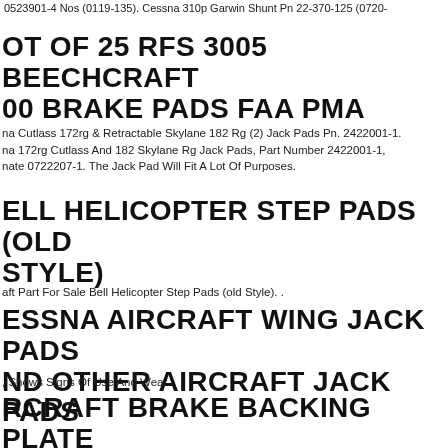0523901-4 Nos (0119-135). Cessna 310p Garwin Shunt Pn 22-370-125 (0720-
OT OF 25 RFS 3005 BEECHCRAFT 00 BRAKE PADS FAA PMA
na Cutlass 172rg & Retractable Skylane 182 Rg (2) Jack Pads Pn. 2422001-1. na 172rg Cutlass And 182 Skylane Rg Jack Pads, Part Number 2422001-1, nate 0722207-1. The Jack Pad Will Fit A Lot Of Purposes.
ELL HELICOPTER STEP PADS (OLD STYLE)
aft Part For Sale Bell Helicopter Step Pads (old Style). .
ESSNA AIRCRAFT WING JACK PADS ND OTHER AIRCRAFT JACK PADS
, Shows Signs Of Use And Wear.
RCRAFT BRAKE BACKING PLATE ITH BRAKE PAD - PN: 763 422 - LOT C475